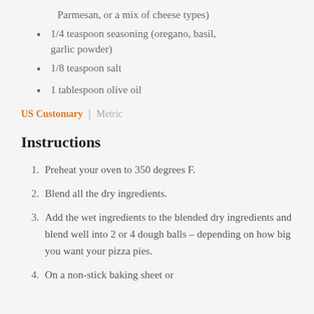Parmesan, or a mix of cheese types)
1/4 teaspoon seasoning (oregano, basil, garlic powder)
1/8 teaspoon salt
1 tablespoon olive oil
US Customary | Metric
Instructions
Preheat your oven to 350 degrees F.
Blend all the dry ingredients.
Add the wet ingredients to the blended dry ingredients and blend well into 2 or 4 dough balls – depending on how big you want your pizza pies.
On a non-stick baking sheet or